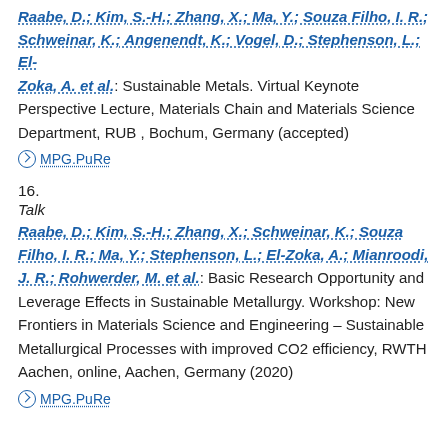Raabe, D.; Kim, S.-H.; Zhang, X.; Ma, Y.; Souza Filho, I. R.; Schweinar, K.; Angenendt, K.; Vogel, D.; Stephenson, L.; El-Zoka, A. et al.: Sustainable Metals. Virtual Keynote Perspective Lecture, Materials Chain and Materials Science Department, RUB , Bochum, Germany (accepted)
MPG.PuRe
16.
Talk
Raabe, D.; Kim, S.-H.; Zhang, X.; Schweinar, K.; Souza Filho, I. R.; Ma, Y.; Stephenson, L.; El-Zoka, A.; Mianroodi, J. R.; Rohwerder, M. et al.: Basic Research Opportunity and Leverage Effects in Sustainable Metallurgy. Workshop: New Frontiers in Materials Science and Engineering – Sustainable Metallurgical Processes with improved CO2 efficiency, RWTH Aachen, online, Aachen, Germany (2020)
MPG.PuRe